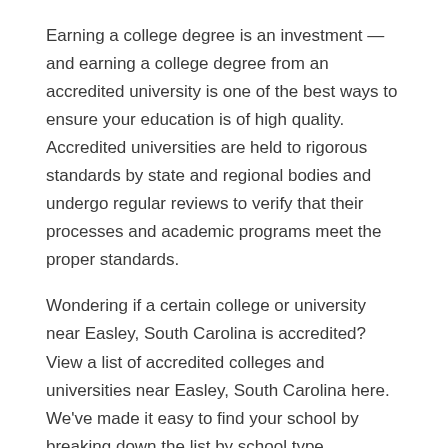Earning a college degree is an investment — and earning a college degree from an accredited university is one of the best ways to ensure your education is of high quality. Accredited universities are held to rigorous standards by state and regional bodies and undergo regular reviews to verify that their processes and academic programs meet the proper standards.
Wondering if a certain college or university near Easley, South Carolina is accredited? View a list of accredited colleges and universities near Easley, South Carolina here. We've made it easy to find your school by breaking down the list by school type.
Accredited Nonprofit Colleges Near